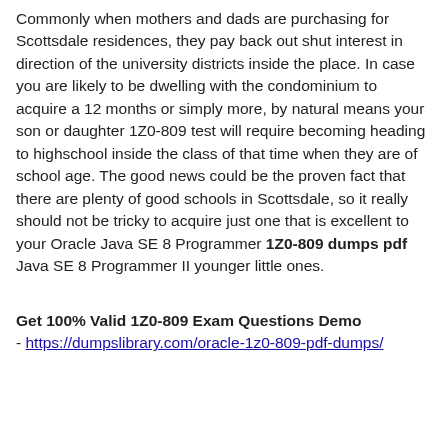Commonly when mothers and dads are purchasing for Scottsdale residences, they pay back out shut interest in direction of the university districts inside the place. In case you are likely to be dwelling with the condominium to acquire a 12 months or simply more, by natural means your son or daughter 1Z0-809 test will require becoming heading to highschool inside the class of that time when they are of school age. The good news could be the proven fact that there are plenty of good schools in Scottsdale, so it really should not be tricky to acquire just one that is excellent to your Oracle Java SE 8 Programmer 1Z0-809 dumps pdf Java SE 8 Programmer II younger little ones.
Get 100% Valid 1Z0-809 Exam Questions Demo - https://dumpslibrary.com/oracle-1z0-809-pdf-dumps/